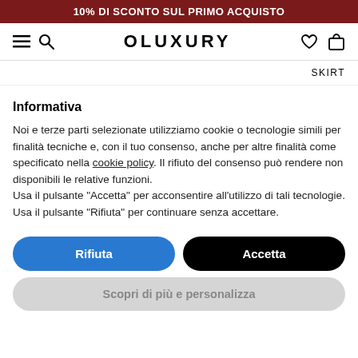10% DI SCONTO SUL PRIMO ACQUISTO
[Figure (screenshot): Navigation bar with hamburger menu, search icon, OLUXURY logo, heart icon, and shopping bag icon]
SKIRT
Informativa
Noi e terze parti selezionate utilizziamo cookie o tecnologie simili per finalità tecniche e, con il tuo consenso, anche per altre finalità come specificato nella cookie policy. Il rifiuto del consenso può rendere non disponibili le relative funzioni.
Usa il pulsante “Accetta” per acconsentire all’utilizzo di tali tecnologie. Usa il pulsante “Rifiuta” per continuare senza accettare.
Rifiuta
Accetta
Scopri di più e personalizza